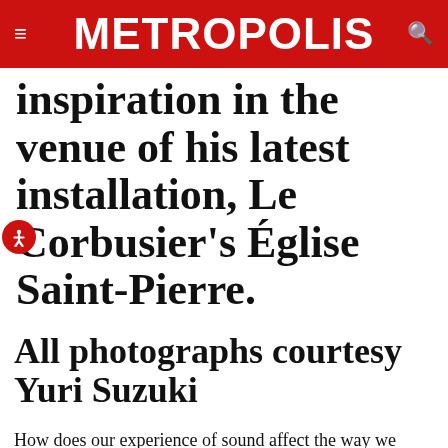METROPOLIS
inspiration in the venue of his latest installation, Le Corbusier's Église Saint-Pierre.
All photographs courtesy Yuri Suzuki
How does our experience of sound affect the way we perceive and experience space?